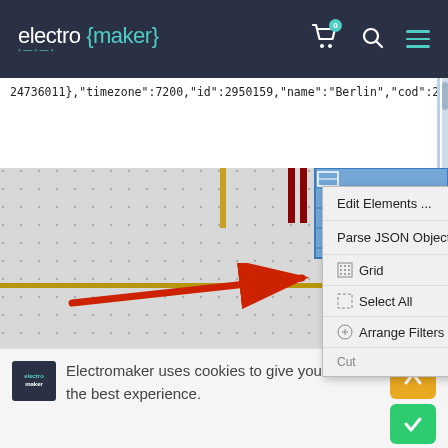electro{maker} — website header with cart, search, and menu icons
24736011},{"timezone":7200,"id":2950159,"name":"Berlin","cod":200}
[Figure (screenshot): Circuit board editor view with a right-click context menu showing: Edit Elements..., Parse JSON Object..., Grid (Ctrl+G), Select All (Ctrl+A), Arrange Filters. A red arrow points to 'Parse JSON Object...' menu item.]
Electromaker uses cookies to give you the best experience.